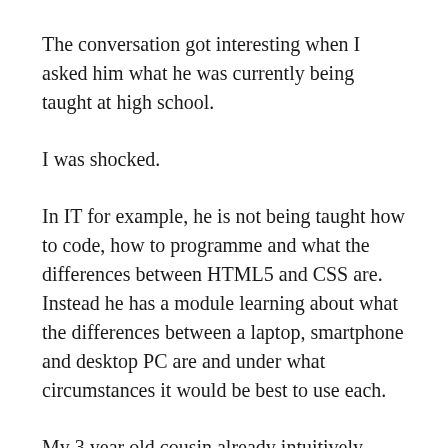The conversation got interesting when I asked him what he was currently being taught at high school.
I was shocked.
In IT for example, he is not being taught how to code, how to programme and what the differences between HTML5 and CSS are. Instead he has a module learning about what the differences between a laptop, smartphone and desktop PC are and under what circumstances it would be best to use each.
My 3 year old cousin already intuitively knows